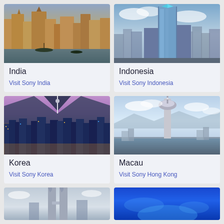[Figure (photo): Aerial view of Varanasi ghats along the Ganges river, India, showing historic buildings and boats]
India
Visit Sony India
[Figure (photo): Modern skyline of an Indonesian city with tall glass skyscraper against clouds]
Indonesia
Visit Sony Indonesia
[Figure (photo): Night cityscape of Seoul Korea with illuminated city lights and mountains in background]
Korea
Visit Sony Korea
[Figure (photo): Macau Tower and bridge over water with mountains in background against blue sky]
Macau
Visit Sony Hong Kong
[Figure (photo): Petronas twin towers or similar tall tower in Malaysia, partially visible]
[Figure (photo): Blue ocean or sky scene, partially visible at bottom right]